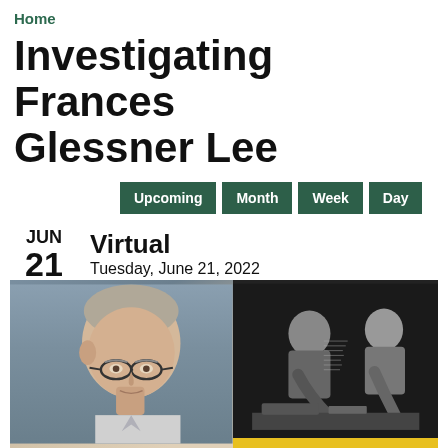Home
Investigating Frances Glessner Lee
Upcoming
Month
Week
Day
Virtual
JUN 21 2022 TUE
Tuesday, June 21, 2022
7:00pm - 8:30pm
[Figure (photo): Composite image: on the left, a gray-haired man with glasses photographed in portrait style against a blue-gray background. On the right, a black-and-white historical photograph of two people leaning over and examining something closely.]